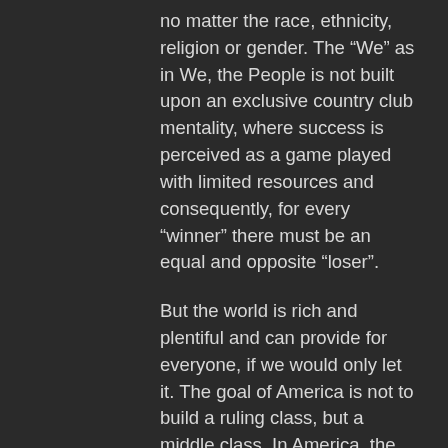no matter the race, ethnicity, religion or gender. The “We” as in We, the People is not built upon an exclusive country club mentality, where success is perceived as a game played with limited resources and consequently, for every “winner” there must be an equal and opposite “loser”.
But the world is rich and plentiful and can provide for everyone, if we would only let it. The goal of America is not to build a ruling class, but a middle class. In America, the goal is to help the poorest among us. Perhaps by providing food, shelter and assistance where it is needed and not by giving out loans that will never be repaid to the wealthiest and then hope it “trickles down” to the